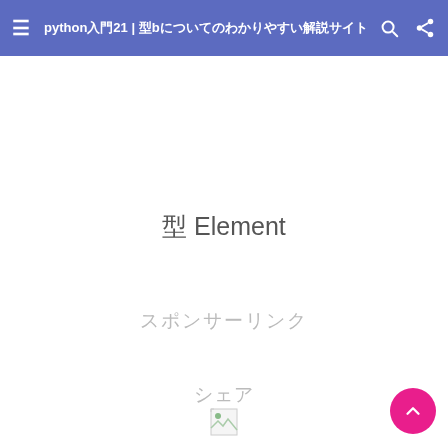python入門21 | 型bについてのわかりやすい解説サイト
型 Element
スポンサーリンク
シェア
[Figure (photo): Broken image placeholder at bottom center]